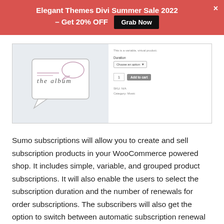[Figure (screenshot): Promotional banner with red background: 'Elegant Themes Divi Summer Sale 2022 – Get 20% OFF' with a 'Grab Now' black button and a close (×) button.]
[Figure (screenshot): WooCommerce product page screenshot showing an album product image on the left with a speech-bubble illustration reading 'the album', and on the right: 'This is a variable, virtual product.' text, a Duration dropdown with 'Choose an option', quantity field showing 1, 'Add to cart' button, SKU: N/A, Category: Music.]
Sumo subscriptions will allow you to create and sell subscription products in your WooCommerce powered shop. It includes simple, variable, and grouped product subscriptions. It will also enable the users to select the subscription duration and the number of renewals for order subscriptions. The subscribers will also get the option to switch between automatic subscription renewal and manual subscription renewal. The site admin can also manually create an order with a subscription and easily assign it to any